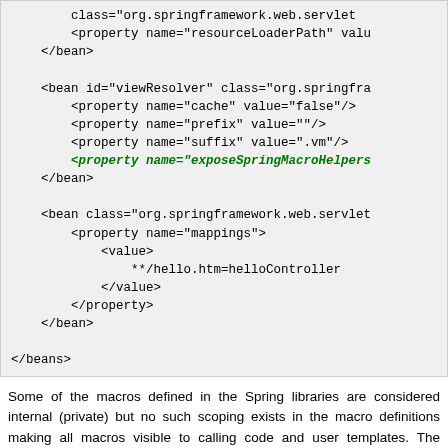[Figure (screenshot): Code block showing Spring XML bean configuration with highlighted exposeSpringMacroHelpers property line in green italic bold, rest in black monospace]
Some of the macros defined in the Spring libraries are considered internal (private) but no such scoping exists in the macro definitions making all macros visible to calling code and user templates. The following sections concentrate only on the macros you need to be directly calling from within your templates. If you wish to view the macro code directly, the files are called spring.vm / spring.ftl